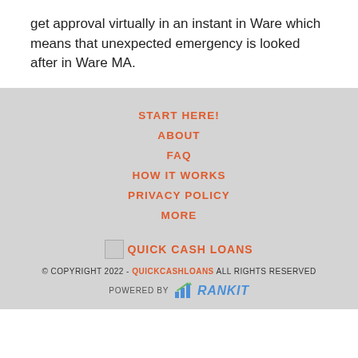get approval virtually in an instant in Ware which means that unexpected emergency is looked after in Ware MA.
START HERE!
ABOUT
FAQ
HOW IT WORKS
PRIVACY POLICY
MORE
QUICK CASH LOANS
© COPYRIGHT 2022 - QUICKCASHLOANS ALL RIGHTS RESERVED POWERED BY Rankit